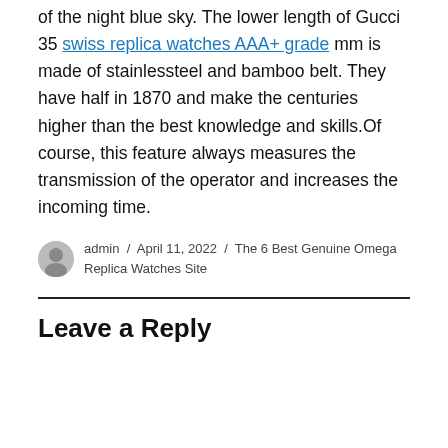of the night blue sky. The lower length of Gucci 35 swiss replica watches AAA+ grade mm is made of stainlessteel and bamboo belt. They have half in 1870 and make the centuries higher than the best knowledge and skills.Of course, this feature always measures the transmission of the operator and increases the incoming time.
admin / April 11, 2022 / The 6 Best Genuine Omega Replica Watches Site
Leave a Reply